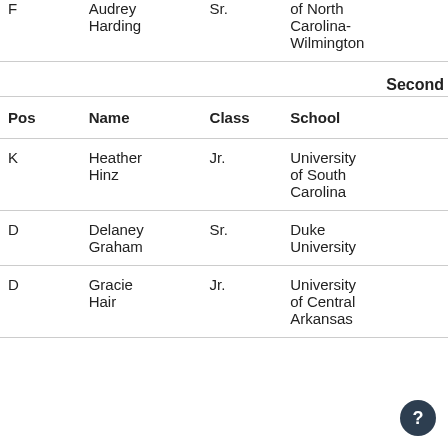| Pos | Name | Class | School |
| --- | --- | --- | --- |
| F | Audrey Harding | Sr. | University of North Carolina-Wilmington |
|  |  |  | Second |
| K | Heather Hinz | Jr. | University of South Carolina |
| D | Delaney Graham | Sr. | Duke University |
| D | Gracie Hair | Jr. | University of Central Arkansas |